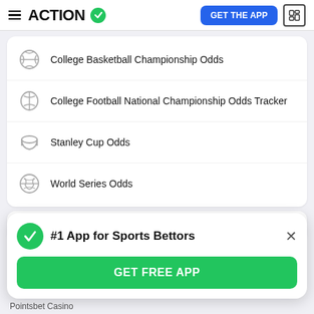ACTION [logo with checkmark] | GET THE APP | [news icon]
College Basketball Championship Odds
College Football National Championship Odds Tracker
Stanley Cup Odds
World Series Odds
Casino Gaming
[Figure (infographic): Popup banner: green checkmark circle icon, bold text '#1 App for Sports Bettors', close X button, green 'GET FREE APP' button]
Pointsbet Casino